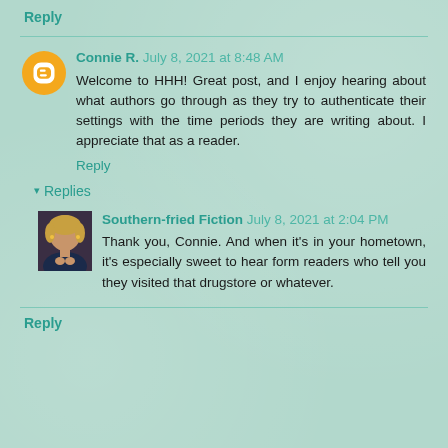Reply
Connie R. July 8, 2021 at 8:48 AM
Welcome to HHH! Great post, and I enjoy hearing about what authors go through as they try to authenticate their settings with the time periods they are writing about. I appreciate that as a reader.
Reply
Replies
Southern-fried Fiction July 8, 2021 at 2:04 PM
Thank you, Connie. And when it's in your hometown, it's especially sweet to hear form readers who tell you they visited that drugstore or whatever.
Reply